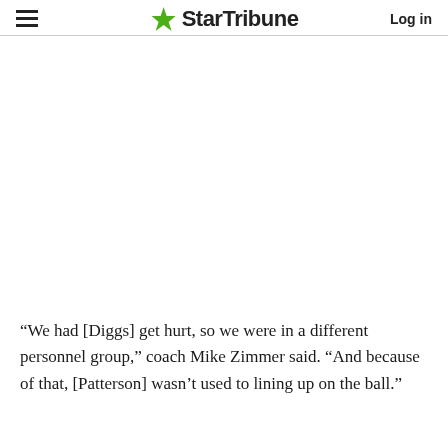StarTribune   Log in
“We had [Diggs] get hurt, so we were in a different personnel group,” coach Mike Zimmer said. “And because of that, [Patterson] wasn’t used to lining up on the ball.”